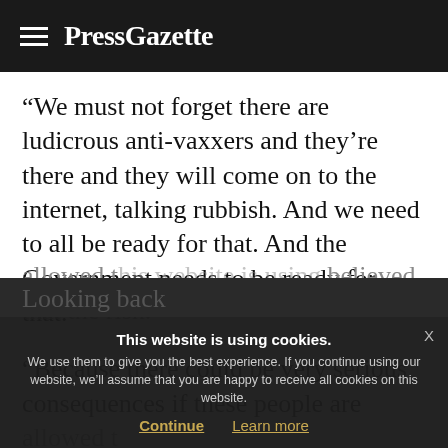PressGazette
“We must not forget there are ludicrous anti-vaxxers and they’re there and they will come on to the internet, talking rubbish. And we need to all be ready for that. And the Government needs to be ready for that.
“Because there could be very serious consequences if these people are allowed t… believed that the risk…
Looking back
This website is using cookies. We use them to give you the best experience. If you continue using our website, we’ll assume that you are happy to receive all cookies on this website. Continue Learn more